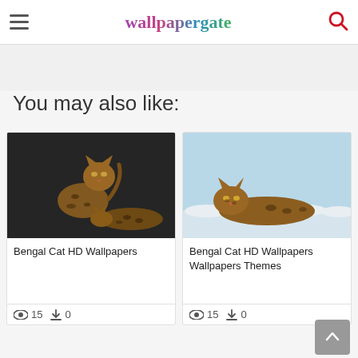wallpapergate
You may also like:
[Figure (photo): Two Bengal cats on a dark background]
Bengal Cat HD Wallpapers
👁 15  ⬇ 0
[Figure (photo): Bengal cat lying on white fluffy surface against light blue background]
Bengal Cat HD Wallpapers Wallpapers Themes
👁 15  ⬇ 0